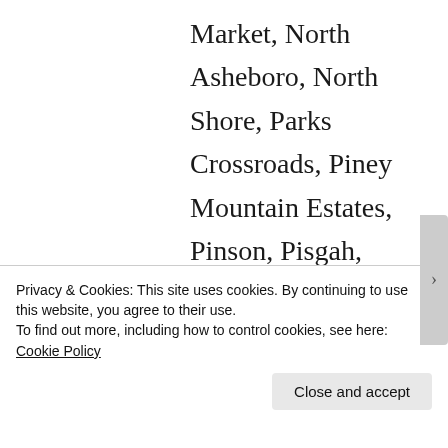Market, North Asheboro, North Shore, Parks Crossroads, Piney Mountain Estates, Pinson, Pisgah, Progress, Ravenwood, Redcross, Redding Hills, Robins Nest, Roxana, Salem, Sophia, Stones Throw, Trinity Park, Ulah, Westridge, Westwood, Winningham Farm, Worthville and Yow Mill including cities like
Privacy & Cookies: This site uses cookies. By continuing to use this website, you agree to their use.
To find out more, including how to control cookies, see here: Cookie Policy
Close and accept